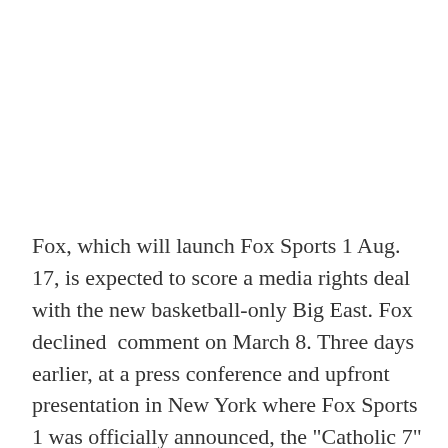Fox, which will launch Fox Sports 1 Aug. 17, is expected to score a media rights deal with the new basketball-only Big East. Fox declined  comment on March 8. Three days earlier, at a press conference and upfront presentation in New York where Fox Sports 1 was officially announced, the "Catholic 7" was on the minds of attendees. Fox Sports Media Group co-president Randy Freer said the programmer hoped "to wrap something up in the